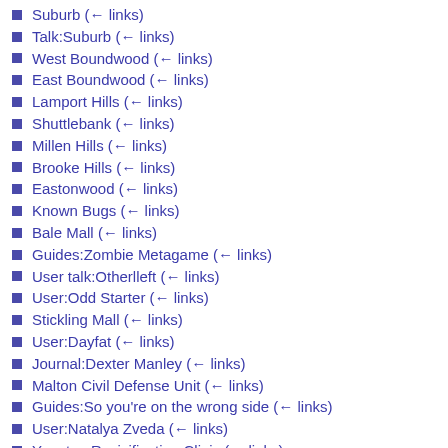Suburb  (← links)
Talk:Suburb  (← links)
West Boundwood  (← links)
East Boundwood  (← links)
Lamport Hills  (← links)
Shuttlebank  (← links)
Millen Hills  (← links)
Brooke Hills  (← links)
Eastonwood  (← links)
Known Bugs  (← links)
Bale Mall  (← links)
Guides:Zombie Metagame  (← links)
User talk:Otherlleft  (← links)
User:Odd Starter  (← links)
Stickling Mall  (← links)
User:Dayfat  (← links)
Journal:Dexter Manley  (← links)
Malton Civil Defense Unit  (← links)
Guides:So you're on the wrong side  (← links)
User:Natalya Zveda  (← links)
Yagoton Revivification Clinic  (← links)
Talk:Yagoton Revivification Clinic  (← links)